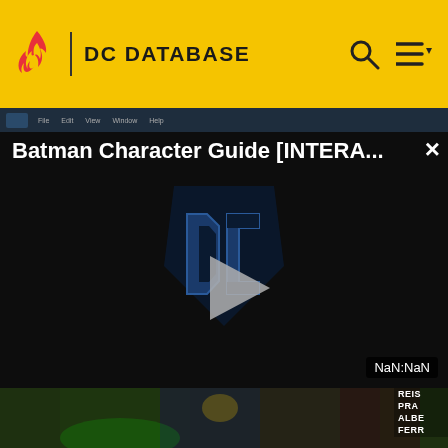DC DATABASE
[Figure (screenshot): Video player showing Batman Character Guide [INTERA...] with DC shield logo, play button, and NaN:NaN timer. Dark background with close button (×).]
[Figure (photo): Comic book cover art showing DC superhero characters including Green Lantern, Superman, Wonder Woman, and The Flash. Credits: REIS, PRADO, ALBERT, FERREIRA repeated on left and right edges.]